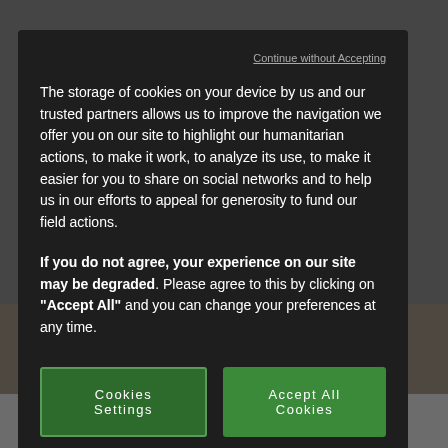[Figure (screenshot): Background webpage screenshot showing a blog post with image and title 'The Humanitarian Exhibition (1867-2016)', date 16/05/2022, partially visible behind cookie consent modal overlay]
Continue without Accepting
The storage of cookies on your device by us and our trusted partners allows us to improve the navigation we offer you on our site to highlight our humanitarian actions, to make it work, to analyze its use, to make it easier for you to share on social networks and to help us in our efforts to appeal for generosity to fund our field actions.
If you do not agree, your experience on our site may be degraded. Please agree to this by clicking on "Accept All" and you can change your preferences at any time.
Cookies Settings
Accept All Cookies
POST DE BLOG
The Humanitarian Exhibition (1867-2016)
16/05/2022